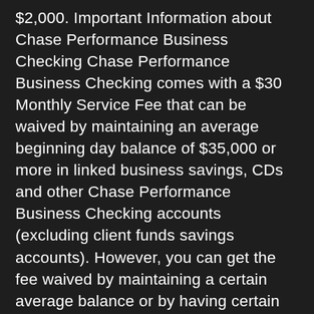$2,000. Important Information about Chase Performance Business Checking Chase Performance Business Checking comes with a $30 Monthly Service Fee that can be waived by maintaining an average beginning day balance of $35,000 or more in linked business savings, CDs and other Chase Performance Business Checking accounts (excluding client funds savings accounts). However, you can get the fee waived by maintaining a certain average balance or by having certain types of linked accounts. If you're planning to use your credit card for most business purchases, Chase is the right bank for you. Chase Total Business Checking. More ways to waive fees. 3 ways to waive it. Jul 08, 2021 · Chase Platinum Business Checking. This is the easiest account to keep fee free. com) $5 per transfer or $0 per transfer if the amount is equal to $5,000 USD or more Nov 12, 2020 · Chase Performance Business